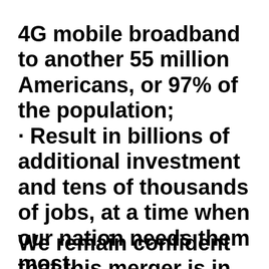4G mobile broadband to another 55 million Americans, or 97% of the population; · Result in billions of additional investment and tens of thousands of jobs, at a time when our nation needs them most.
We remain confident that this merger is in the best interest of